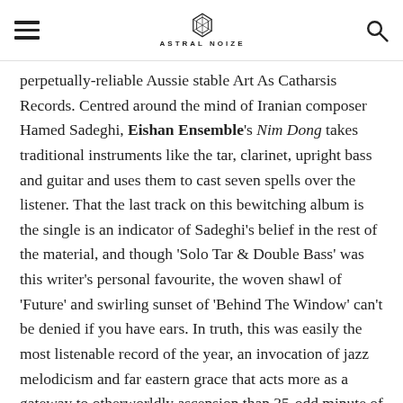ASTRAL NOIZE
perpetually-reliable Aussie stable Art As Catharsis Records. Centred around the mind of Iranian composer Hamed Sadeghi, Eishan Ensemble's Nim Dong takes traditional instruments like the tar, clarinet, upright bass and guitar and uses them to cast seven spells over the listener. That the last track on this bewitching album is the single is an indicator of Sadeghi's belief in the rest of the material, and though ‘Solo Tar & Double Bass’ was this writer’s personal favourite, the woven shawl of ‘Future’ and swirling sunset of ‘Behind The Window’ can’t be denied if you have ears. In truth, this was easily the most listenable record of the year, an invocation of jazz melodicism and far eastern grace that acts more as a gateway to otherworldly ascension than 35-odd minute of banging tunes. Excellent to an insulting degree.